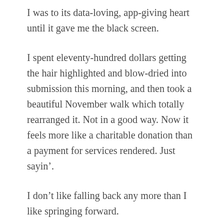I was to its data-loving, app-giving heart until it gave me the black screen.
I spent eleventy-hundred dollars getting the hair highlighted and blow-dried into submission this morning, and then took a beautiful November walk which totally rearranged it. Not in a good way. Now it feels more like a charitable donation than a payment for services rendered. Just sayin'.
I don’t like falling back any more than I like springing forward.